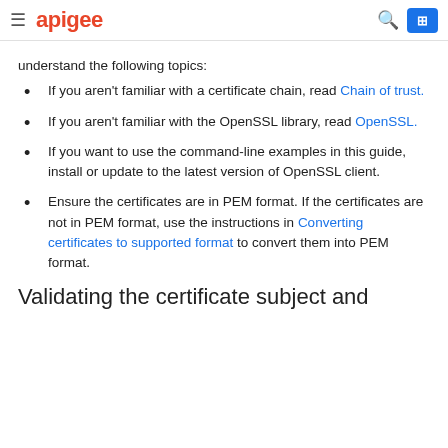apigee
understand the following topics:
If you aren't familiar with a certificate chain, read Chain of trust.
If you aren't familiar with the OpenSSL library, read OpenSSL.
If you want to use the command-line examples in this guide, install or update to the latest version of OpenSSL client.
Ensure the certificates are in PEM format. If the certificates are not in PEM format, use the instructions in Converting certificates to supported format to convert them into PEM format.
Validating the certificate subject and